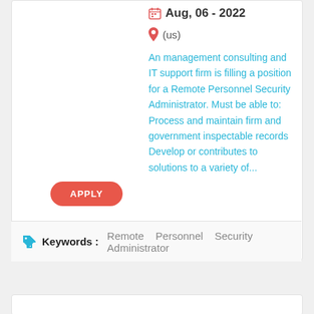Aug, 06 - 2022
(us)
An management consulting and IT support firm is filling a position for a Remote Personnel Security Administrator. Must be able to: Process and maintain firm and government inspectable records Develop or contributes to solutions to a variety of...
APPLY
Keywords :   Remote   Personnel   Security   Administrator